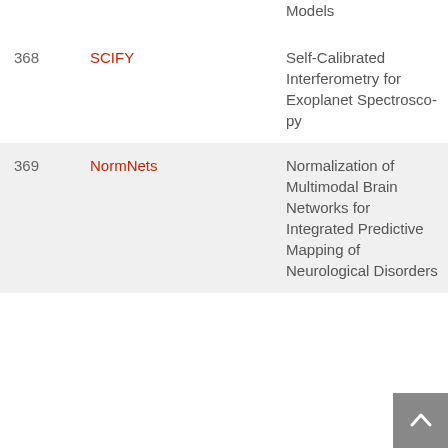| # | Name | Title |
| --- | --- | --- |
|  |  | Models |
| 368 | SCIFY | Self-Calibrated Interferometry for Exoplanet Spectroscopy |
| 369 | NormNets | Normalization of Multimodal Brain Networks for Integrated Predictive Mapping of Neurological Disorders |